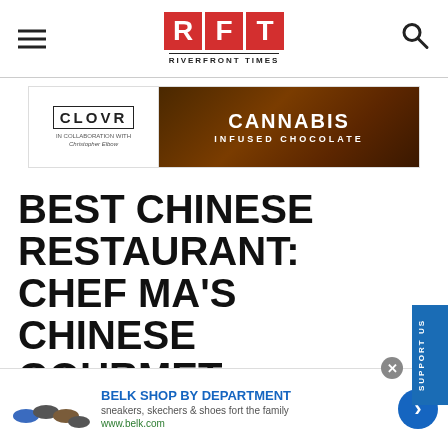RFT RIVERFRONT TIMES
[Figure (logo): CLOVR by collaboration with Christopher Elbow logo on left, Cannabis Infused Chocolate ad banner on right with dark chocolate background]
BEST CHINESE RESTAURANT: CHEF MA'S CHINESE GOURMET
[Figure (infographic): Belk Shop by Department advertisement - sneakers, skechers & shoes for the family, www.belk.com, with shoe images and blue arrow button]